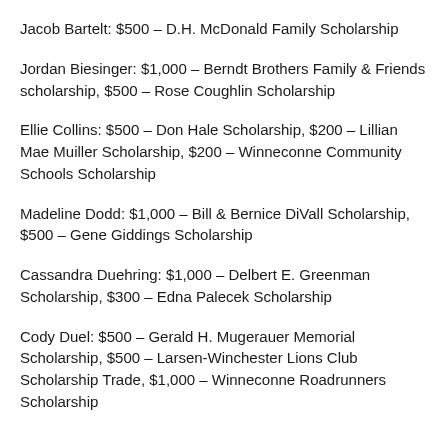Jacob Bartelt: $500 – D.H. McDonald Family Scholarship
Jordan Biesinger: $1,000 – Berndt Brothers Family & Friends scholarship, $500 – Rose Coughlin Scholarship
Ellie Collins: $500 – Don Hale Scholarship, $200 – Lillian Mae Muiller Scholarship, $200 – Winneconne Community Schools Scholarship
Madeline Dodd: $1,000 – Bill & Bernice DiVall Scholarship, $500 – Gene Giddings Scholarship
Cassandra Duehring: $1,000 – Delbert E. Greenman Scholarship, $300 – Edna Palecek Scholarship
Cody Duel: $500 – Gerald H. Mugerauer Memorial Scholarship, $500 – Larsen-Winchester Lions Club Scholarship Trade, $1,000 – Winneconne Roadrunners Scholarship